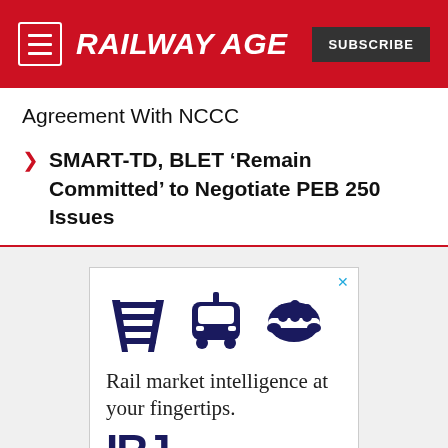RAILWAY AGE
Agreement With NCCC
SMART-TD, BLET ‘Remain Committed’ to Negotiate PEB 250 Issues
[Figure (infographic): Advertisement for IRJ (International Railway Journal) showing rail track icon, train icon, and handshake icon with tagline 'Rail market intelligence at your fingertips.' and IRJ logo.]